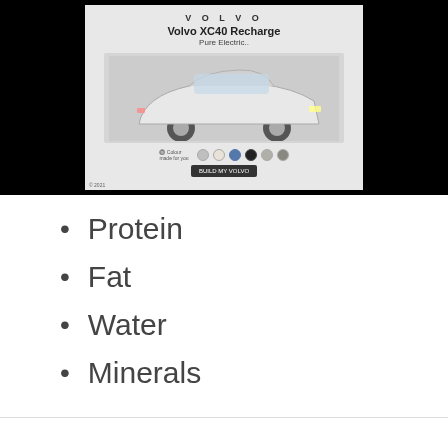[Figure (advertisement): Volvo XC40 Recharge Pure Electric advertisement banner with car image, color swatches, and CTA button, shown on black background]
Protein
Fat
Water
Minerals